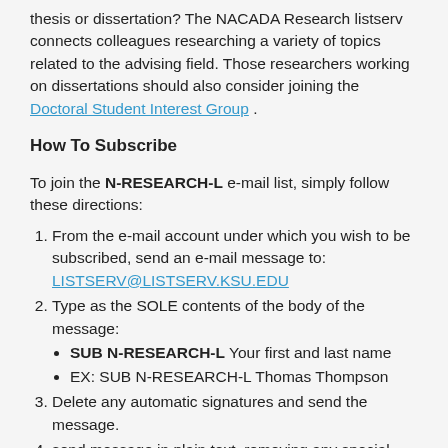thesis or dissertation?  The NACADA Research listserv connects colleagues researching a variety of topics related to the advising field. Those researchers working on dissertations should also consider joining the Doctoral Student Interest Group .
How To Subscribe
To join the N-RESEARCH-L e-mail list, simply follow these directions:
1. From the e-mail account under which you wish to be subscribed, send an e-mail message to: LISTSERV@LISTSERV.KSU.EDU
2. Type as the SOLE contents of the body of the message:
  • SUB N-RESEARCH-L Your first and last name
  • EX: SUB N-RESEARCH-L Thomas Thompson
3. Delete any automatic signatures and send the message.
4. send message in plain text, removing any special fonts or formatting (i.e. bold, hyperlinks, etc...)
5. You will receive an automatic confirmation of your